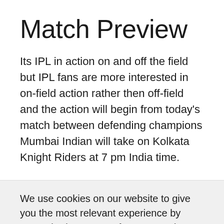Match Preview
Its IPL in action on and off the field but IPL fans are more interested in on-field action rather then off-field and the action will begin from today's match between defending champions Mumbai Indian will take on Kolkata Knight Riders at 7 pm India time.
We use cookies on our website to give you the most relevant experience by remembering your preferences and repeat visits. By clicking “Accept”, you consent to the use of ALL the cookies.
Cookie settings   ACCEPT